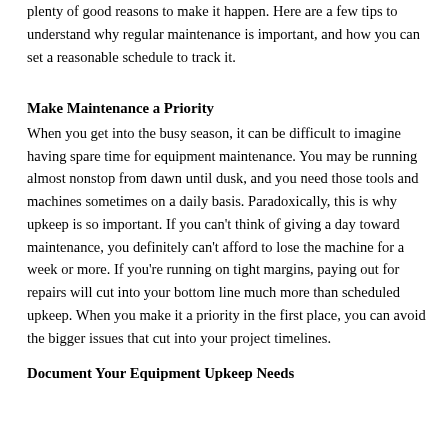plenty of good reasons to make it happen. Here are a few tips to understand why regular maintenance is important, and how you can set a reasonable schedule to track it.
Make Maintenance a Priority
When you get into the busy season, it can be difficult to imagine having spare time for equipment maintenance. You may be running almost nonstop from dawn until dusk, and you need those tools and machines sometimes on a daily basis. Paradoxically, this is why upkeep is so important. If you can't think of giving a day toward maintenance, you definitely can't afford to lose the machine for a week or more. If you're running on tight margins, paying out for repairs will cut into your bottom line much more than scheduled upkeep. When you make it a priority in the first place, you can avoid the bigger issues that cut into your project timelines.
Document Your Equipment Upkeep Needs